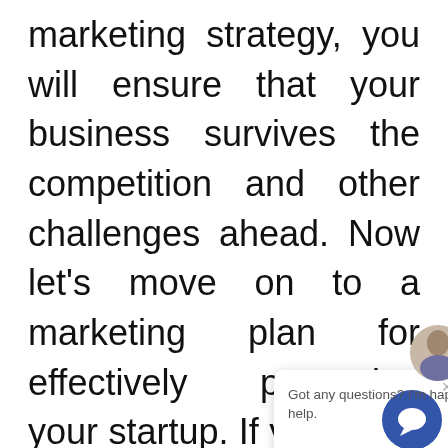marketing strategy, you will ensure that your business survives the competition and other challenges ahead. Now let's move on to a marketing plan for effectively promoting your startup. If you are a startup owner, you need to invest in tactics right to establish yours
Marketing your startup can be daunting, but it is essential to
[Figure (other): Chat popup overlay with avatar image and text 'Got any questions? I'm happy to help.' with a close (×) button, and a circular chat icon button at the bottom right.]